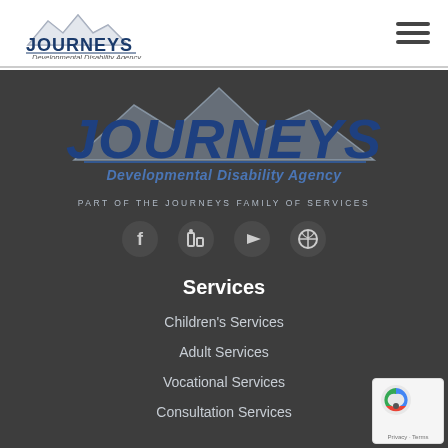[Figure (logo): Journeys Developmental Disability Agency logo - small version in header with mountain graphic and blue text]
[Figure (logo): Journeys Developmental Disability Agency logo - large version in dark section with mountain graphic and large blue italic text, subtext 'Developmental Disability Agency']
PART OF THE JOURNEYS FAMILY OF SERVICES
[Figure (illustration): Social media icons: Facebook, LinkedIn, YouTube, Pinterest - circular dark buttons]
Services
Children's Services
Adult Services
Vocational Services
Consultation Services